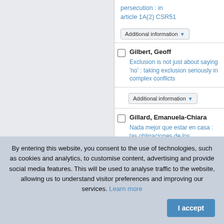persecution : in article 1A(2) CSR51
Additional information
Gilbert, Geoff — Exclusion is not just about saying 'no' : taking exclusion seriously in complex conflicts
Additional information
Gillard, Emanuela-Chiara — Nada mejor que estar en casa : las obligaciones de los
By entering this website, you consent to the use of technologies, such as cookies and analytics, to customise content, advertising and provide social media features. This will be used to analyse traffic to the website, allowing us to understand visitor preferences and improving our services. Learn more